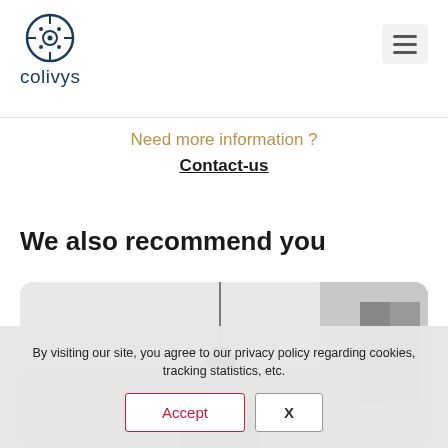colivys
Need more information ?
Contact-us
We also recommend you
[Figure (photo): Interior room photo showing a white ceiling with a hanging red pendant lamp, a window with curtains visible in the background, rounded corner card style layout]
By visiting our site, you agree to our privacy policy regarding cookies, tracking statistics, etc.